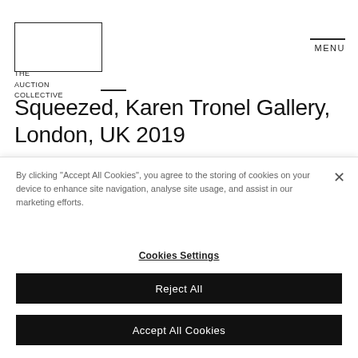[Figure (logo): The Auction Collective logo: a rectangle outline with text 'THE AUCTION COLLECTIVE' below and a horizontal line extending right]
MENU
Squeezed, Karen Tronel Gallery, London, UK 2019
Limbo, The London Summer Intensive: The Slade
By clicking "Accept All Cookies", you agree to the storing of cookies on your device to enhance site navigation, analyse site usage, and assist in our marketing efforts.
Cookies Settings
Reject All
Accept All Cookies